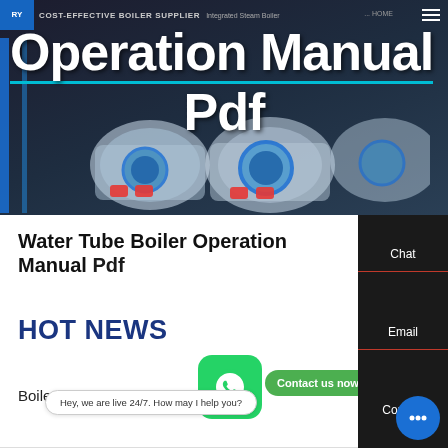[Figure (screenshot): Hero banner showing boiler equipment in dark background with company logo and navigation bar at top]
Operation Manual Pdf
Water Tube Boiler Operation Manual Pdf
HOT NEWS
Boiler Fuel Calcula...
Chat
Email
Contact
Contact us now!
Hey, we are live 24/7. How may I help you?